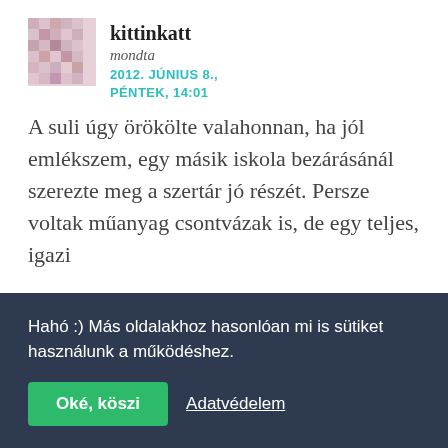[Figure (illustration): Square avatar/profile image with pink/mauve geometric pattern resembling a mosaic or pixel art]
kittinkatt
mondta
2012. JÚNIUS 8., PÉNTEK, 14:01
A suli úgy örökölte valahonnan, ha jól emlékszem, egy másik iskola bezárásánál szerezte meg a szertár jó részét. Persze voltak műanyag csontvázak is, de egy teljes, igazi
Hahó :) Más oldalakhoz hasonlóan mi is sütiket használunk a működéshez.
Oké, köszi
Adatvédelem